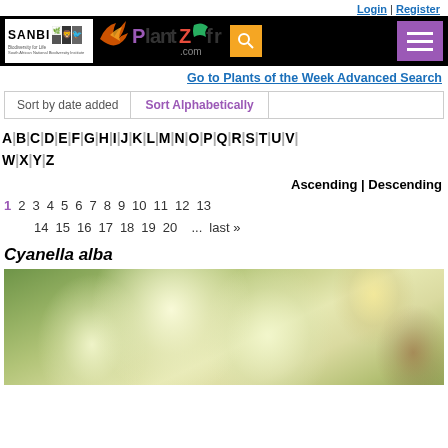Login | Register
[Figure (logo): SANBI and PlantZAfrica.com logos with search and menu buttons on black header bar]
Go to Plants of the Week Advanced Search
Sort by date added | Sort Alphabetically
A|B|C|D|E|F|G|H|I|J|K|L|M|N|O|P|Q|R|S|T|U|V| W|X|Y|Z
Ascending | Descending
1 2 3 4 5 6 7 8 9 10 11 12 13 14 15 16 17 18 19 20 ... last »
Cyanella alba
[Figure (photo): Close-up photo of Cyanella alba flowers — white/pale yellow drooping bell-shaped blooms against green foliage background]